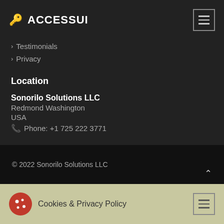ACCESSUI
Testimonials
Privacy
Location
Sonorilo Solutions LLC
Redmond Washington
USA
Phone: +1 725 222 3771
© 2022 Sonorilo Solutions LLC
Cookies & Privacy Policy